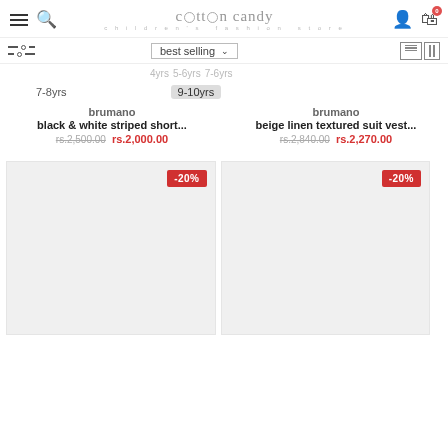cotton candy children's fashion store
best selling
7-8yrs  9-10yrs
brumano
black & white striped short...
rs.2,500.00  rs.2,000.00
brumano
beige linen textured suit vest...
rs.2,840.00  rs.2,270.00
[Figure (screenshot): Product image card with -20% discount badge, light grey background]
[Figure (screenshot): Product image card with -20% discount badge, light grey background]